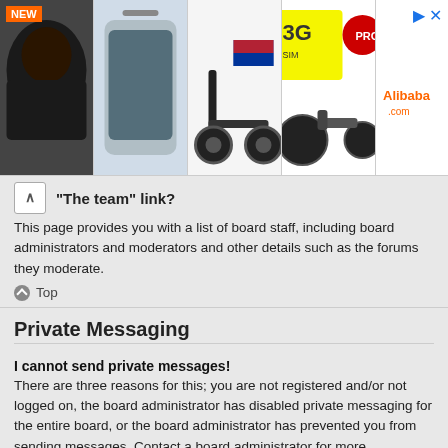[Figure (screenshot): Advertisement banner with 4 product images: hair wig (NEW badge), smartphone, electric scooter, 3G SIM card with electric bike, and Alibaba.com logo with arrow]
“The team” link?
This page provides you with a list of board staff, including board administrators and moderators and other details such as the forums they moderate.
Top
Private Messaging
I cannot send private messages!
There are three reasons for this; you are not registered and/or not logged on, the board administrator has disabled private messaging for the entire board, or the board administrator has prevented you from sending messages. Contact a board administrator for more information.
Top
I keep getting unwanted private messages!
You can automatically delete private messages from a user by using message rules within your User Control Panel. If you are receiving abusive private messages from a particular user, report the messages to the moderators; they